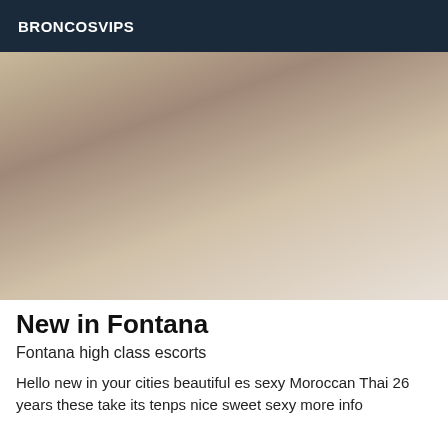BRONCOSVIPS
[Figure (photo): A person wearing pink high heels, photographed from behind on a white bed.]
New in Fontana
Fontana high class escorts
Hello new in your cities beautiful es sexy Moroccan Thai 26 years these take its tenps nice sweet sexy more info